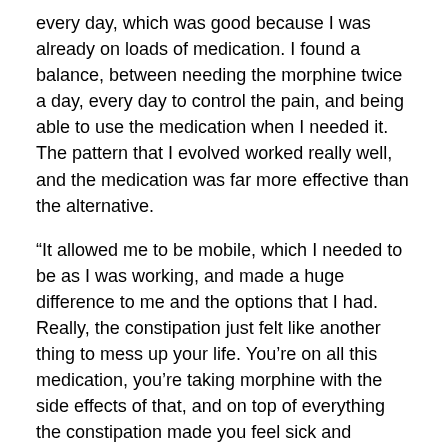every day, which was good because I was already on loads of medication. I found a balance, between needing the morphine twice a day, every day to control the pain, and being able to use the medication when I needed it. The pattern that I evolved worked really well, and the medication was far more effective than the alternative.
“It allowed me to be mobile, which I needed to be as I was working, and made a huge difference to me and the options that I had. Really, the constipation just felt like another thing to mess up your life. You’re on all this medication, you’re taking morphine with the side effects of that, and on top of everything the constipation made you feel sick and bloated.
“I felt more in control as well, so there was no question that I would get stuck, which is really important for your self-esteem. When you have cancer, things become more public than they would normally be. The medication means you have a bit more control over something private and you just have a bit more dignity.